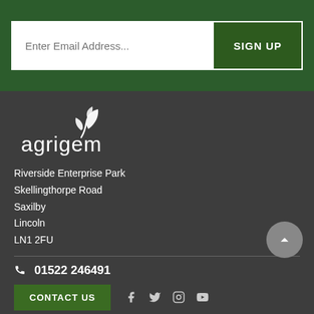[Figure (other): Email signup bar with input field placeholder 'Enter Email Address...' and green SIGN UP button]
[Figure (logo): Agrigem company logo — white leaf/plant icon above white lowercase 'agrigem' text, on dark grey background]
Riverside Enterprise Park
Skellingthorpe Road
Saxilby
Lincoln
LN1 2FU
01522 246491
[Figure (other): Contact Us button (dark green) and social media icons: Facebook, Twitter, Instagram, YouTube]